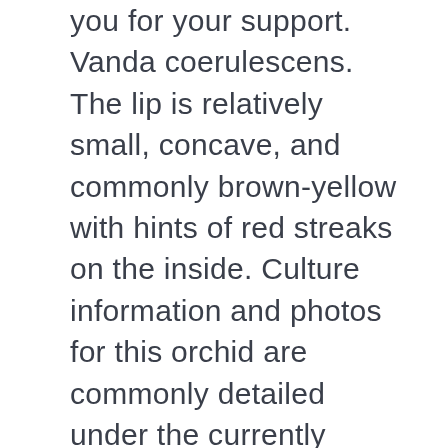you for your support. Vanda coerulescens. The lip is relatively small, concave, and commonly brown-yellow with hints of red streaks on the inside. Culture information and photos for this orchid are commonly detailed under the currently accepted name of Vanda coerulescens. Vanda orchids grow best when grown in well-draining media, such as fern fibers, coarse fir bark, or sphagnum moss. Each flower, which has a darker indigo blue lip, is fragrant and measures about 3 cm. When the plant goes into dormancy during the winter, it only needs fertilizers once every 3 to 4 weeks. Vanda Orchid Care. Synonyms Vanda coerulescens var. Species recognized by EOL Dynamic Hierarchy 1.1 and EOL Dynamic...